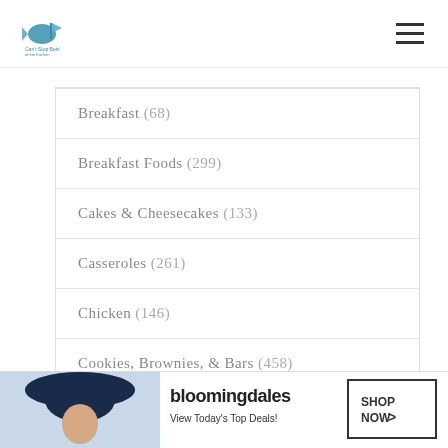Can't Stop Eating - Food Blog
Breakfast (68)
Breakfast Foods (299)
Cakes & Cheesecakes (133)
Casseroles (261)
Chicken (146)
Cookies, Brownies, & Bars (458)
Cooking Tips (11)
[Figure (screenshot): Bloomingdale's advertisement banner: 'View Today's Top Deals! SHOP NOW >']